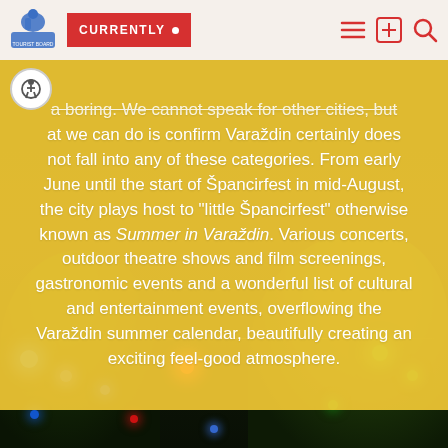CURRENTLY •
[Figure (photo): Night scene with colorful festival lights (blue, red, green) in trees, outdoor festival atmosphere]
a boring. We cannot speak for other cities, but at we can do is confirm Varaždin certainly does not fall into any of these categories. From early June until the start of Špancirfest in mid-August, the city plays host to "little Špancirfest" otherwise known as Summer in Varaždin. Various concerts, outdoor theatre shows and film screenings, gastronomic events and a wonderful list of cultural and entertainment events, overflowing the Varaždin summer calendar, beautifully creating an exciting feel-good atmosphere.